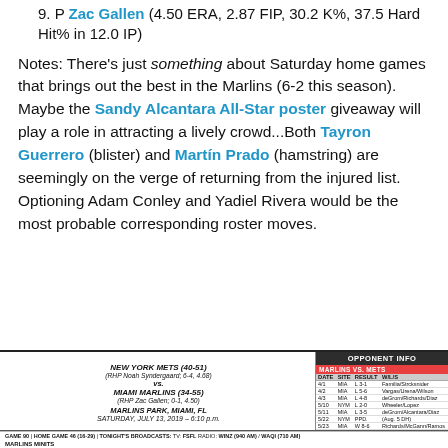9. P Zac Gallen (4.50 ERA, 2.87 FIP, 30.2 K%, 37.5 Hard Hit% in 12.0 IP)
Notes: There's just something about Saturday home games that brings out the best in the Marlins (6-2 this season). Maybe the Sandy Alcantara All-Star poster giveaway will play a role in attracting a lively crowd...Both Tayron Guerrero (blister) and Martín Prado (hamstring) are seemingly on the verge of returning from the injured list. Optioning Adam Conley and Yadiel Rivera would be the most probable corresponding roster moves.
| DATE | SITE | RESULT | W/L/S |
| --- | --- | --- | --- |
| 4/1 | MIA | L 3-1 | Familia/Strcksnider |
| 4/2 | MIA | L 5-6 | Vargas/Urena/Wilson |
| 4/3 | MIA | L 4-8 | deGrom/Richardo/Diaz |
| 5/10 | NYM | L 2-0 | Wheeler/Lopez |
| 5/11 | MIA | L 3-5 | deGrom/Alcantara/Diaz |
| 5/22 | NYM | PPD. | (Aug. 5 DH) |
| 5/23 | MIA | W 8-6 | Richards/McGann/Ramos |